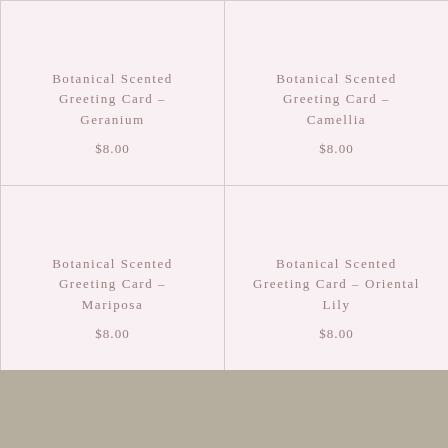Botanical Scented Greeting Card – Geranium
$8.00
Botanical Scented Greeting Card – Camellia
$8.00
Botanical Scented Greeting Card – Mariposa
$8.00
Botanical Scented Greeting Card – Oriental Lily
$8.00